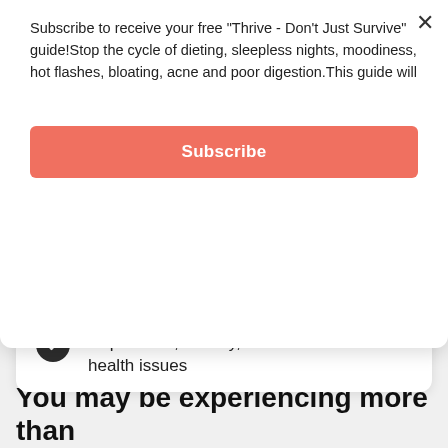Subscribe to receive your free "Thrive - Don't Just Survive" guide!Stop the cycle of dieting, sleepless nights, moodiness, hot flashes, bloating, acne and poor digestion.This guide will
Subscribe
Autoimmune disease
Skin issues (acne, dryness, rosacea, etc.)
Depression, anxiety, and other mental health issues
You may be experiencing more than